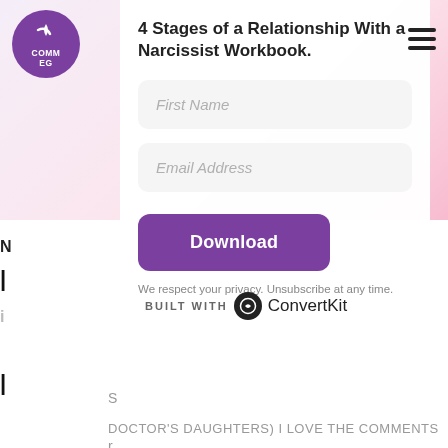[Figure (logo): Purple circular logo with white icon and text COMM, EG]
4 Stages of a Relationship With a Narcissist Workbook.
First Name
Email Address
Download
We respect your privacy. Unsubscribe at any time.
BUILT WITH ConvertKit
DOCTOR'S DAUGHTERS) I LOVE THE COMMENTS